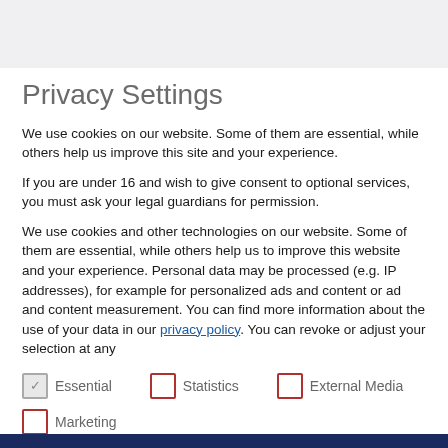Privacy Settings
We use cookies on our website. Some of them are essential, while others help us improve this site and your experience.
If you are under 16 and wish to give consent to optional services, you must ask your legal guardians for permission.
We use cookies and other technologies on our website. Some of them are essential, while others help us to improve this website and your experience. Personal data may be processed (e.g. IP addresses), for example for personalized ads and content or ad and content measurement. You can find more information about the use of your data in our privacy policy. You can revoke or adjust your selection at any
Essential
Statistics
External Media
Marketing